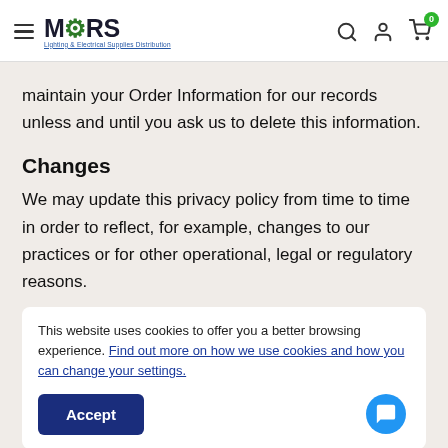[Figure (logo): MARS Lighting & Electrical Supplies Distribution logo with hamburger menu, search, account, and cart icons]
maintain your Order Information for our records unless and until you ask us to delete this information.
Changes
We may update this privacy policy from time to time in order to reflect, for example, changes to our practices or for other operational, legal or regulatory reasons.
This website uses cookies to offer you a better browsing experience. Find out more on how we use cookies and how you can change your settings.